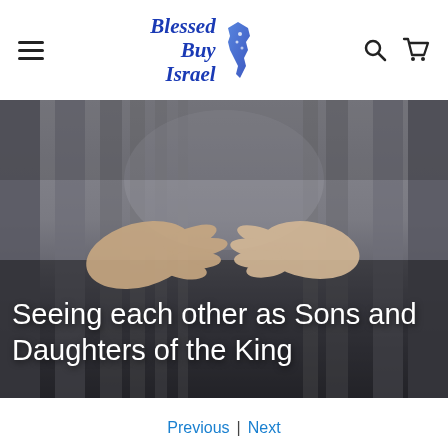Blessed Buy Israel
[Figure (photo): Two hands reaching toward each other against a blurred corridor with pillars background. Overlay text reads: Seeing each other as Sons and Daughters of the King]
Seeing each other as Sons and Daughters of the King
Previous | Next